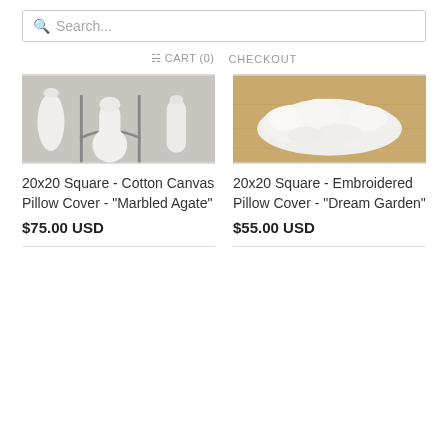Search...
CART (0)   CHECKOUT
[Figure (photo): Product photo of Cotton Canvas Pillow Cover - Marbled Agate, showing white vases and metal table legs on gray floor]
20x20 Square - Cotton Canvas Pillow Cover - "Marbled Agate"
$75.00 USD
[Figure (photo): Product photo of Embroidered Pillow Cover - Dream Garden, showing fluffy white material on wooden surface]
20x20 Square - Embroidered Pillow Cover - "Dream Garden"
$55.00 USD